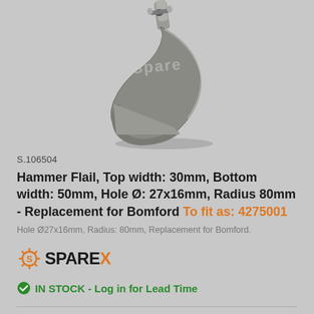[Figure (photo): Photograph of a hammer flail metal part - a curved/angled steel component with a mounting hole at top, viewed from an angle on a grey background. Sparex watermark visible.]
S.106504
Hammer Flail, Top width: 30mm, Bottom width: 50mm, Hole Ø: 27x16mm, Radius 80mm - Replacement for Bomford To fit as: 4275001
Hole Ø27x16mm, Radius: 80mm, Replacement for Bomford.
[Figure (logo): Sparex logo with gear/cog icon on left and SPAREX text in black with orange X]
IN STOCK - Log in for Lead Time